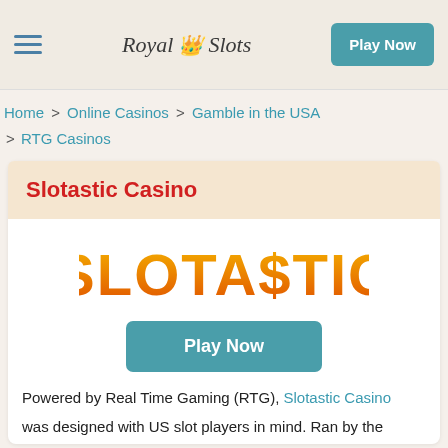Royal Slots | Play Now
Home > Online Casinos > Gamble in the USA > RTG Casinos
Slotastic Casino
[Figure (logo): Slotastic casino logo in orange and red gradient text]
Play Now
Powered by Real Time Gaming (RTG), Slotastic Casino was designed with US slot players in mind. Ran by the